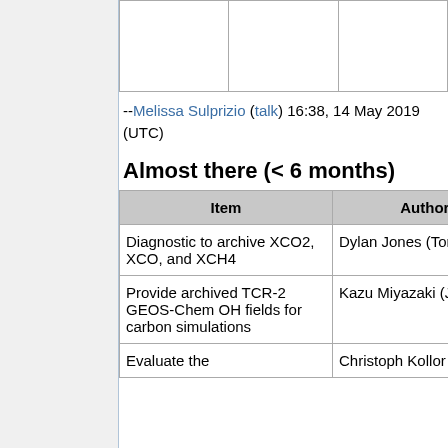|  |  |  |
--Melissa Sulprizio (talk) 16:38, 14 May 2019 (UTC)
Almost there (< 6 months)
| Item | Author(s) | T |
| --- | --- | --- |
| Diagnostic to archive XCO2, XCO, and XCH4 | Dylan Jones (Toronto) | Sci |
| Provide archived TCR-2 GEOS-Chem OH fields for carbon simulations | Kazu Miyazaki (JPL) | Sci |
| Evaluate the | Christoph Kollor | Sci |